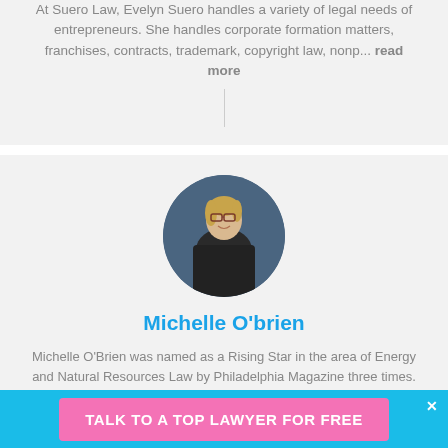At Suero Law, Evelyn Suero handles a variety of legal needs of entrepreneurs. She handles corporate formation matters, franchises, contracts, trademark, copyright law, nonp... read more
[Figure (photo): Circular profile photo of Michelle O'Brien, a woman with blonde hair, glasses, and a dark jacket, against a dark blue-grey background]
Michelle O'brien
Michelle O'Brien was named as a Rising Star in the area of Energy and Natural Resources Law by Philadelphia Magazine three times. She is a licensed attorney in Pennsylvania, New
TALK TO A TOP LAWYER FOR FREE